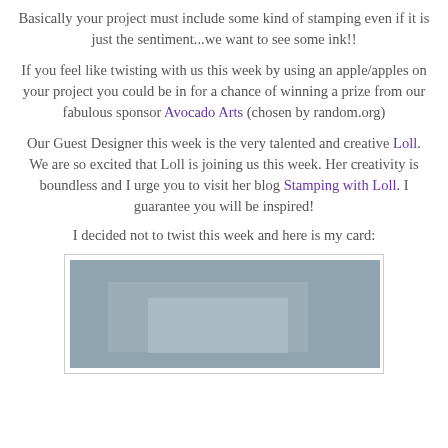Basically your project must include some kind of stamping even if it is just the sentiment...we want to see some ink!!
If you feel like twisting with us this week by using an apple/apples on your project you could be in for a chance of winning a prize from our fabulous sponsor Avocado Arts (chosen by random.org)
Our Guest Designer this week is the very talented and creative Loll. We are so excited that Loll is joining us this week. Her creativity is boundless and I urge you to visit her blog Stamping with Loll. I guarantee you will be inspired!
I decided not to twist this week and here is my card:
[Figure (photo): A card with layered blue-grey rectangular panels on a light background, shown partially]